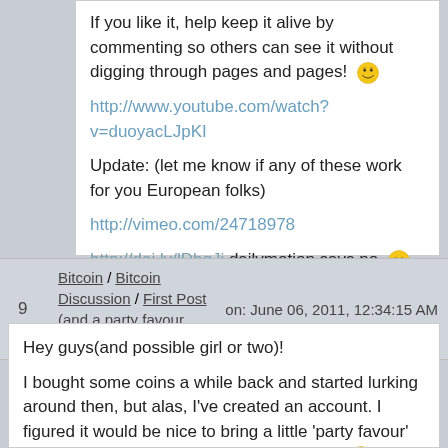If you like it, help keep it alive by commenting so others can see it without digging through pages and pages! 😁
http://www.youtube.com/watch?v=duoyacLJpKI
Update: (let me know if any of these work for you European folks)
http://vimeo.com/24718978
http://dai.ly/lDbqJi dailymotion says no 😐
http://www.myvideo.de/watch/8167443/Simspons_Climb_Mt_Gox
| # | Topic | Date |
| --- | --- | --- |
| 9 | Bitcoin / Bitcoin Discussion / First Post (and a party favour video) | on: June 06, 2011, 12:34:15 AM |
Hey guys(and possible girl or two)!
I bought some coins a while back and started lurking around then, but alas, I've created an account. I figured it would be nice to bring a little 'party favour' so to speak, so here you go, and party on! 😊
http://www.youtube.com/watch?v=YfmnGFDRkBl